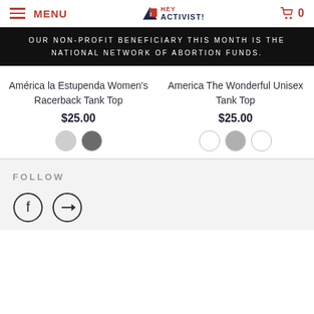MENU | HEY ACTIVIST! | 0
OUR NON-PROFIT BENEFICIARY THIS MONTH IS THE NATIONAL NETWORK OF ABORTION FUNDS.
América la Estupenda Women's Racerback Tank Top
$25.00
America The Wonderful Unisex Tank Top
$25.00
FOLLOW